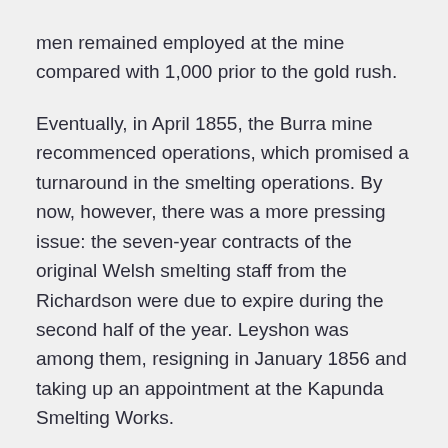men remained employed at the mine compared with 1,000 prior to the gold rush.
Eventually, in April 1855, the Burra mine recommenced operations, which promised a turnaround in the smelting operations. By now, however, there was a more pressing issue: the seven-year contracts of the original Welsh smelting staff from the Richardson were due to expire during the second half of the year. Leyshon was among them, resigning in January 1856 and taking up an appointment at the Kapunda Smelting Works.
The Burra Mine would continue operating until 1877, when falling world copper prices and the high cost of running the mine resulted in its closure. In total it produced approximately 50,000 tons of copper